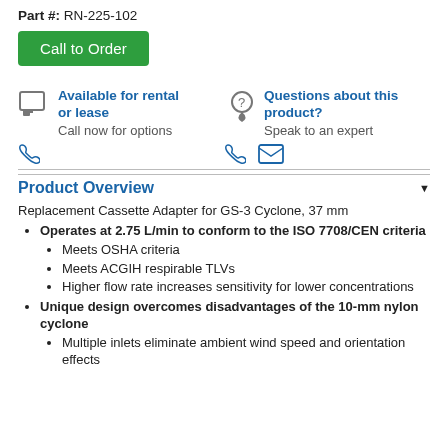Part #: RN-225-102
Call to Order
Available for rental or lease
Call now for options
Questions about this product?
Speak to an expert
Product Overview
Replacement Cassette Adapter for GS-3 Cyclone, 37 mm
Operates at 2.75 L/min to conform to the ISO 7708/CEN criteria
Meets OSHA criteria
Meets ACGIH respirable TLVs
Higher flow rate increases sensitivity for lower concentrations
Unique design overcomes disadvantages of the 10-mm nylon cyclone
Multiple inlets eliminate ambient wind speed and orientation effects